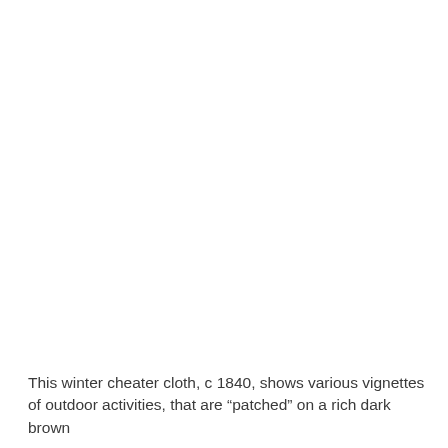[Figure (photo): Large white/blank image area occupying the upper portion of the page — the photograph content is not visible in this crop, showing only a white background.]
This winter cheater cloth, c 1840, shows various vignettes of outdoor activities, that are “patched” on a rich dark brown